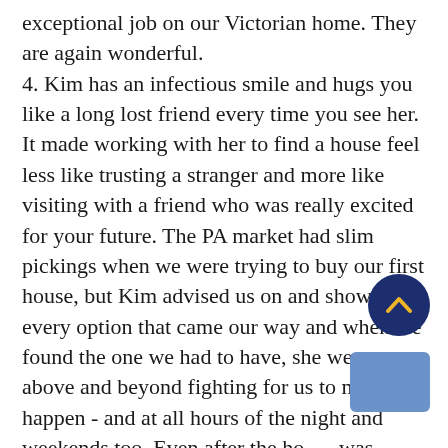exceptional job on our Victorian home. They are again wonderful. 4. Kim has an infectious smile and hugs you like a long lost friend every time you see her. It made working with her to find a house feel less like trusting a stranger and more like visiting with a friend who was really excited for your future. The PA market had slim pickings when we were trying to buy our first house, but Kim advised us on and showed us every option that came our way and when we found the one we had to have, she went above and beyond fighting for us to make it happen - and at all hours of the night and weekends too. Even after the house was officially ours, she checked in with genuine interest in our happiness over the purchase. Would recommend her to everyone I know looking to buy a house. She made a stressful experience way more joyful than I could have imagined.